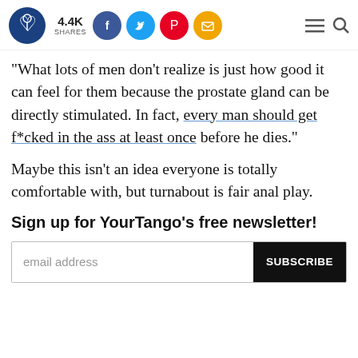4.4K SHARES [social icons: Facebook, Twitter, Pinterest, Email] [menu] [search]
"What lots of men don't realize is just how good it can feel for them because the prostate gland can be directly stimulated. In fact, every man should get f*cked in the ass at least once before he dies."
Maybe this isn't an idea everyone is totally comfortable with, but turnabout is fair anal play.
Sign up for YourTango's free newsletter!
email address [SUBSCRIBE button]